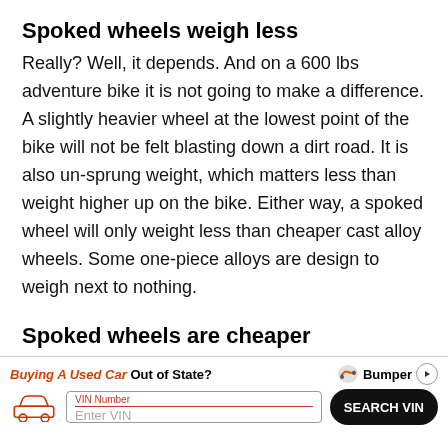Spoked wheels weigh less
Really? Well, it depends. And on a 600 lbs adventure bike it is not going to make a difference. A slightly heavier wheel at the lowest point of the bike will not be felt blasting down a dirt road. It is also un-sprung weight, which matters less than weight higher up on the bike. Either way, a spoked wheel will only weight less than cheaper cast alloy wheels. Some one-piece alloys are design to weigh next to nothing.
Spoked wheels are cheaper
Again, as with weight, it is all relative. Due to being manufacturing from cheaper materials like steel and
[Figure (infographic): Advertisement banner for Bumper VIN lookup service. Text reads 'Buying A Used Car Out of State?' with Bumper logo, a car icon, VIN Number input field with 'Enter VIN' placeholder, and a 'SEARCH VIN' button.]